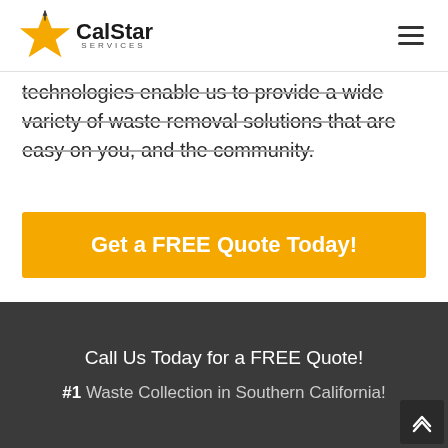CalStar Services
technologies enable us to provide a wide variety of waste removal solutions that are easy on you, and the community.
Get a FREE Quote Today!
Call Us Today for a FREE Quote!
#1 Waste Collection in Southern California!